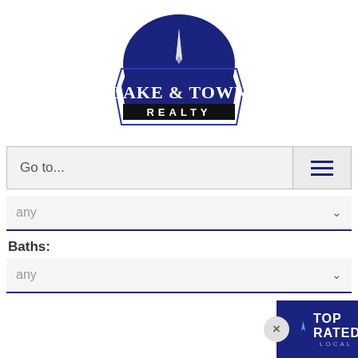[Figure (logo): Lake & Town Realty logo - blue octagon/arch shape with white text reading LAKE & TOWN REALTY]
Go to...
any
Baths:
any
Min. Price:
none
Max Price:
none
Features:
[Figure (screenshot): Top Rated Local banner overlay with close button (x), arrow logo, TOP RATED LOCAL text, and Corner Realty chat icon]